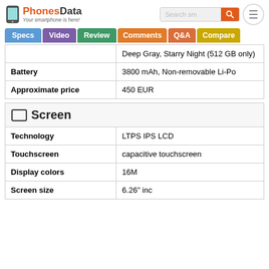PhonesData — Your smartphone is here!
|  | Deep Gray, Starry Night (512 GB only) |
| Battery | 3800 mAh,  Non-removable Li-Po |
| Approximate price | 450 EUR |
Screen
| Technology | LTPS IPS LCD |
| Touchscreen | capacitive touchscreen |
| Display colors | 16M |
| Screen size | 6.26" inc |